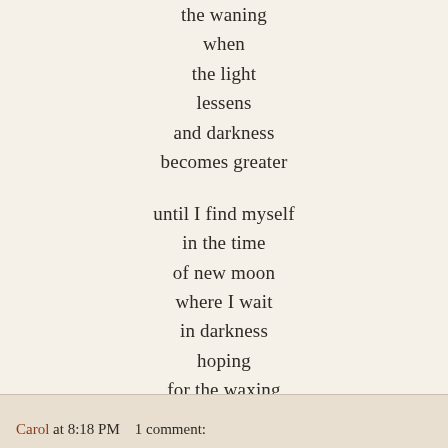the waning
when
the light
lessens
and darkness
becomes greater

until I find myself
in the time
of new moon
where I wait
in darkness
hoping
for the waxing

because
I love
those full moon days.

(c) Carol Wilcox, 2013
Carol at 8:18 PM   1 comment: